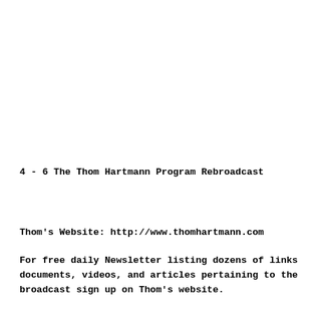4 - 6 The Thom Hartmann Program Rebroadcast
Thom's Website: http://www.thomhartmann.com
For free daily Newsletter listing dozens of links documents, videos, and articles pertaining to the broadcast sign up on Thom's website.